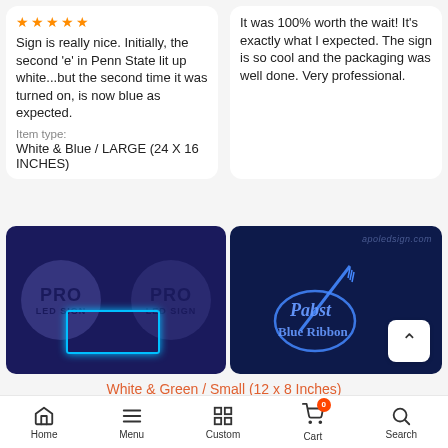[Figure (screenshot): Five orange stars rating]
Sign is really nice.  Initially, the second 'e' in Penn State lit up white...but the second time it was turned on, is now blue as expected.
Item type:
White & Blue / LARGE (24 X 16 INCHES)
It was 100% worth the wait! It's exactly what I expected. The sign is so cool and the packaging was well done. Very professional.
[Figure (photo): PRO LED SIGN blue neon sign in dark blue background with two PRO LED SIGN circles]
[Figure (photo): Pabst Blue Ribbon neon LED sign glowing blue in dark packaging box, with scroll-up button]
White & Green / Small (12 x 8 Inches)
- 1 + ADD TO CART
Home   Menu   Custom   Cart   Search